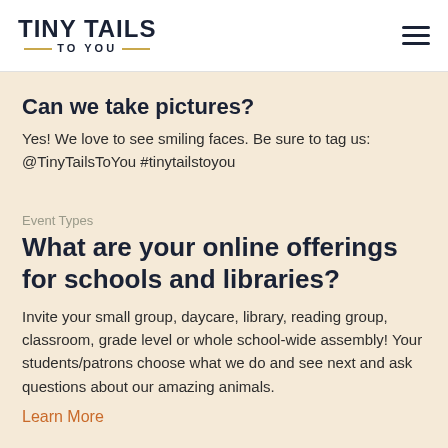TINY TAILS TO YOU
Can we take pictures?
Yes! We love to see smiling faces. Be sure to tag us: @TinyTailsToYou #tinytailstoyou
Event Types
What are your online offerings for schools and libraries?
Invite your small group, daycare, library, reading group, classroom, grade level or whole school-wide assembly! Your students/patrons choose what we do and see next and ask questions about our amazing animals.
Learn More